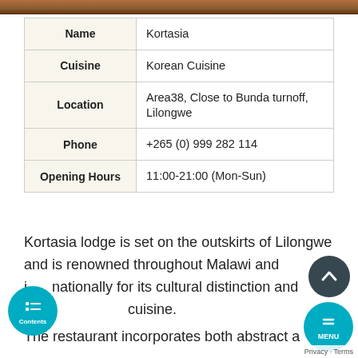[Figure (photo): Photo strip of restaurant interior at top of page]
|  |  |
| --- | --- |
| Name | Kortasia |
| Cuisine | Korean Cuisine |
| Location | Area38, Close to Bunda turnoff, Lilongwe |
| Phone | +265 (0) 999 282 114 |
| Opening Hours | 11:00-21:00 (Mon-Sun) |
Kortasia lodge is set on the outskirts of Lilongwe and is renowned throughout Malawi and internationally for its cultural distinction and cuisine.
The restaurant incorporates both abstract a... African...